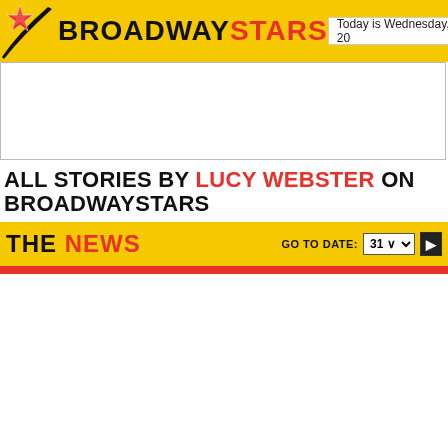BROADWAYSTARS
Today is Wednesday, August 31, 20
[Figure (other): Advertisement banner placeholder]
ALL STORIES BY LUCY WEBSTER ON BROADWAYSTARS
THE NEWS
GO TO DATE: 31